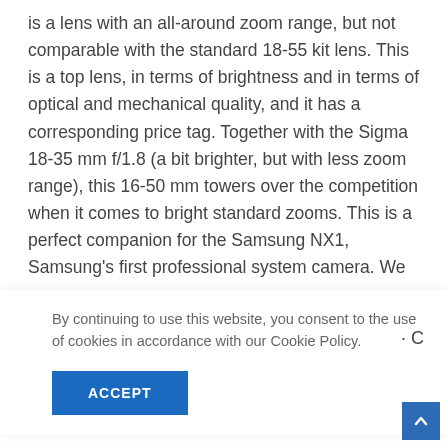is a lens with an all-around zoom range, but not comparable with the standard 18-55 kit lens. This is a top lens, in terms of brightness and in terms of optical and mechanical quality, and it has a corresponding price tag. Together with the Sigma 18-35 mm f/1.8 (a bit brighter, but with less zoom range), this 16-50 mm towers over the competition when it comes to bright standard zooms. This is a perfect companion for the Samsung NX1, Samsung's first professional system camera. We
By continuing to use this website, you consent to the use of cookies in accordance with our Cookie Policy.
ACCEPT